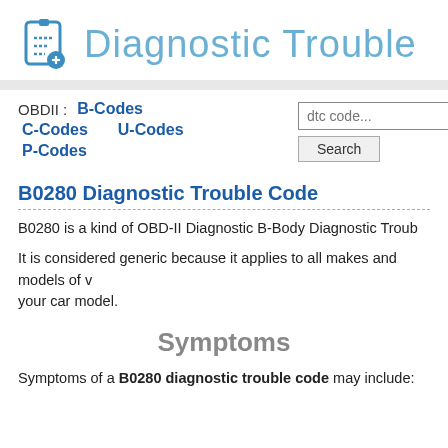Diagnostic Trouble
OBDII :   B-Codes   C-Codes   U-Codes   P-Codes
B0280 Diagnostic Trouble Code
B0280 is a kind of OBD-II Diagnostic B-Body Diagnostic Troub
It is considered generic because it applies to all makes and models of v your car model.
Symptoms
Symptoms of a B0280 diagnostic trouble code may include: